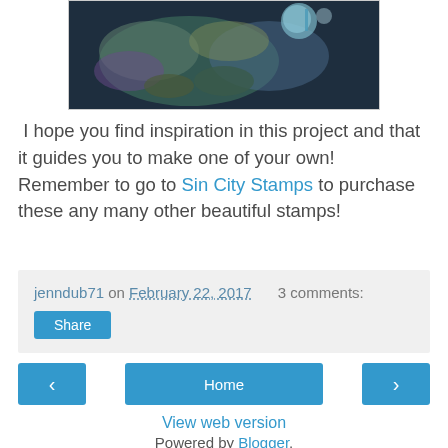[Figure (photo): A crafting/stamp project photo showing colorful decorative elements in teal, purple, and green tones against a dark background.]
I hope you find inspiration in this project and that it guides you to make one of your own! Remember to go to Sin City Stamps to purchase these any many other beautiful stamps!
jenndub71 on February 22, 2017   3 comments:
Share
‹
Home
›
View web version
Powered by Blogger.